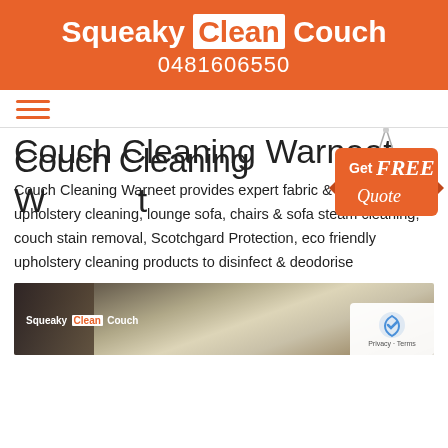Squeaky Clean Couch 0481606550
[Figure (logo): Squeaky Clean Couch orange header logo with phone number]
[Figure (infographic): Hamburger navigation menu icon in orange]
Couch Cleaning Warneet
[Figure (illustration): Orange hanging sign badge reading Get FREE Quote]
Couch Cleaning Warneet provides expert fabric & leather upholstery cleaning, lounge sofa, chairs & sofa steam cleaning, couch stain removal, Scotchgard Protection, eco friendly upholstery cleaning products to disinfect & deodorise
[Figure (photo): Photo of a person cleaning a couch/sofa, with Squeaky Clean Couch watermark logo]